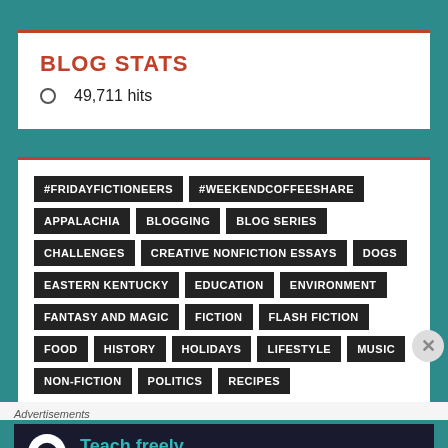BLOG STATS
49,711 hits
#FRIDAYFICTIONEERS #WEEKENDCOFFEESHARE APPALACHIA BLOGGING BLOG SERIES CHALLENGES CREATIVE NONFICTION ESSAYS DOGS EASTERN KENTUCKY EDUCATION ENVIRONMENT FANTASY AND MAGIC FICTION FLASH FICTION FOOD HISTORY HOLIDAYS LIFESTYLE MUSIC NON-FICTION POLITICS RECIPES
Advertisements
Teach freely - Make money selling online courses.